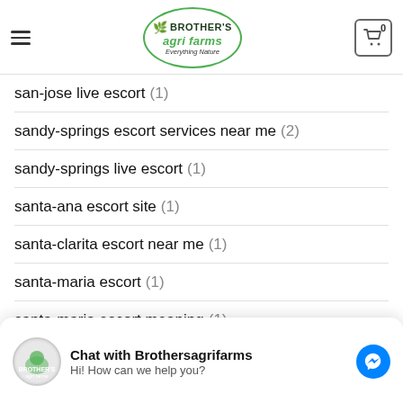Brother's Agri Farms - Everything Nature
san-jose live escort (1)
sandy-springs escort services near me (2)
sandy-springs live escort (1)
santa-ana escort site (1)
santa-clarita escort near me (1)
santa-maria escort (1)
santa-maria escort meaning (1)
Sapiosexual Dating app free (1)
Chat with Brothersagrifarms
Hi! How can we help you?
... chat rooms sign in (1)